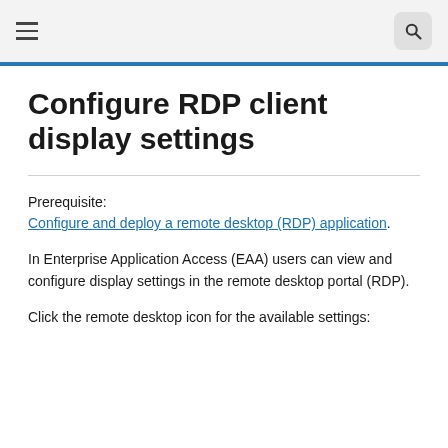☰  [search icon]
Configure RDP client display settings
Prerequisite: Configure and deploy a remote desktop (RDP) application.
In Enterprise Application Access (EAA) users can view and configure display settings in the remote desktop portal (RDP).
Click the remote desktop icon for the available settings: